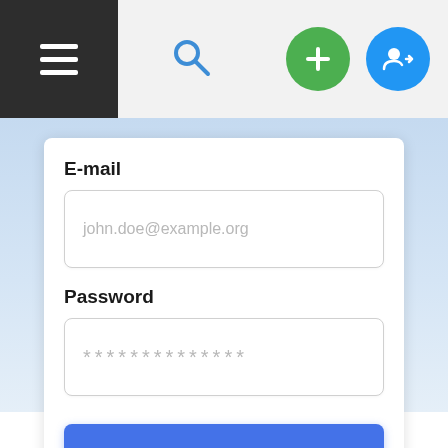[Figure (screenshot): Top navigation bar with hamburger menu (dark background), search icon (blue), green plus button, and blue user/account button]
E-mail
john.doe@example.org
Password
**************
Join Now